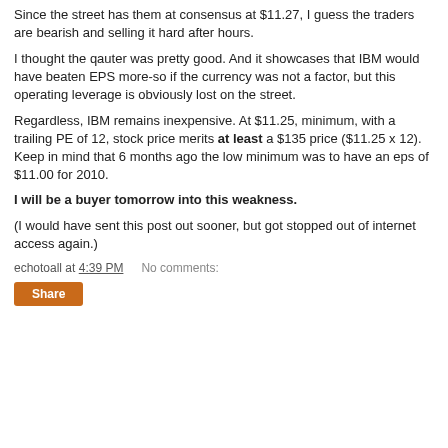Since the street has them at consensus at $11.27, I guess the traders are bearish and selling it hard after hours.
I thought the qauter was pretty good. And it showcases that IBM would have beaten EPS more-so if the currency was not a factor, but this operating leverage is obviously lost on the street.
Regardless, IBM remains inexpensive. At $11.25, minimum, with a trailing PE of 12, stock price merits at least a $135 price ($11.25 x 12). Keep in mind that 6 months ago the low minimum was to have an eps of $11.00 for 2010.
I will be a buyer tomorrow into this weakness.
(I would have sent this post out sooner, but got stopped out of internet access again.)
echotoall at 4:39 PM   No comments: